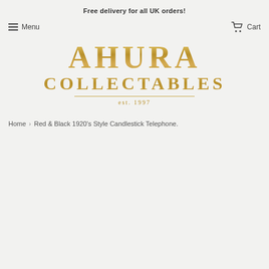Free delivery for all UK orders!
Menu
Cart
[Figure (logo): Ahura Collectables logo with gold text reading AHURA COLLECTABLES est. 1997 on a light grey background]
Home › Red & Black 1920's Style Candlestick Telephone.